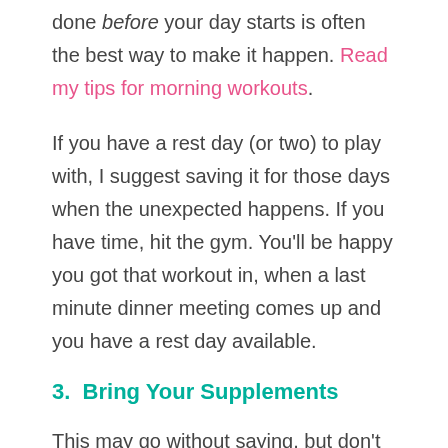done before your day starts is often the best way to make it happen. Read my tips for morning workouts.
If you have a rest day (or two) to play with, I suggest saving it for those days when the unexpected happens. If you have time, hit the gym. You'll be happy you got that workout in, when a last minute dinner meeting comes up and you have a rest day available.
3. Bring Your Supplements
This may go without saying, but don't forget